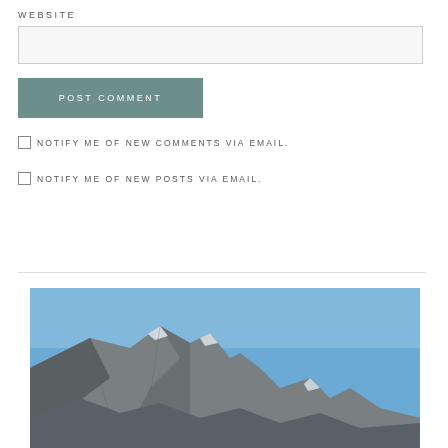WEBSITE
POST COMMENT
NOTIFY ME OF NEW COMMENTS VIA EMAIL.
NOTIFY ME OF NEW POSTS VIA EMAIL.
[Figure (photo): Mountain landscape with rocky peaks and a clear blue sky, photographed from below.]